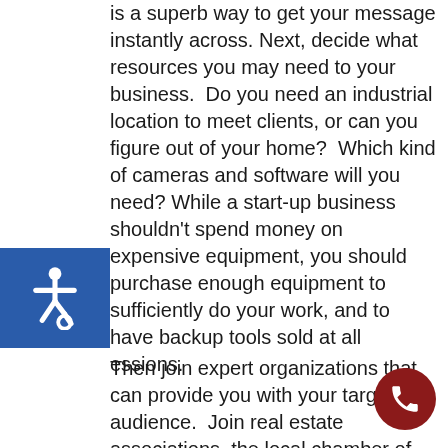is a superb way to get your message instantly across. Next, decide what resources you may need to your business.  Do you need an industrial location to meet clients, or can you figure out of your home?  Which kind of cameras and software will you need? While a start-up business shouldn't spend money on expensive equipment, you should purchase enough equipment to sufficiently do your work, and to have backup tools sold at all essions.
[Figure (logo): Blue accessibility wheelchair icon on blue background]
Then join expert organizations that can provide you with your target audience.  Join real estate associations, the local chamber of commerce, and local leads groups to go into front of realtors and
Real Estate Photography & Video
other business people that will help bring in business.
Starting with the real estate industry may se like natural choice. But after that, you are
[Figure (other): Dark red circular phone call button in bottom right corner]